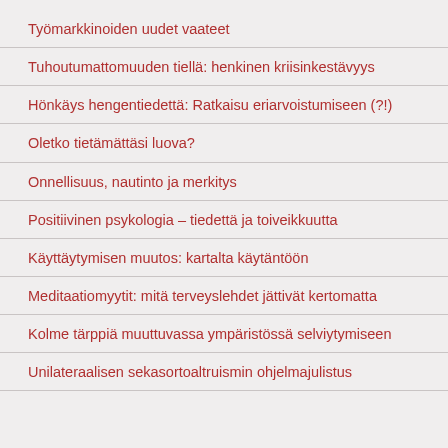Työmarkkinoiden uudet vaateet
Tuhoutumattomuuden tiellä: henkinen kriisinkestävyys
Hönkäys hengentiedettä: Ratkaisu eriarvoistumiseen (?!)
Oletko tietämättäsi luova?
Onnellisuus, nautinto ja merkitys
Positiivinen psykologia – tiedettä ja toiveikkuutta
Käyttäytymisen muutos: kartalta käytäntöön
Meditaatiomyytit: mitä terveyslehdet jättivät kertomatta
Kolme tärppiä muuttuvassa ympäristössä selviytymiseen
Unilateraalisen sekasortoaltruismin ohjelmajulistus